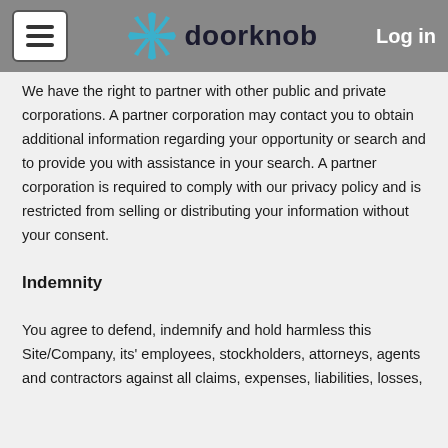doorknob  Log in
We have the right to partner with other public and private corporations. A partner corporation may contact you to obtain additional information regarding your opportunity or search and to provide you with assistance in your search. A partner corporation is required to comply with our privacy policy and is restricted from selling or distributing your information without your consent.
Indemnity
You agree to defend, indemnify and hold harmless this Site/Company, its' employees, stockholders, attorneys, agents and contractors against all claims, expenses, liabilities, losses,